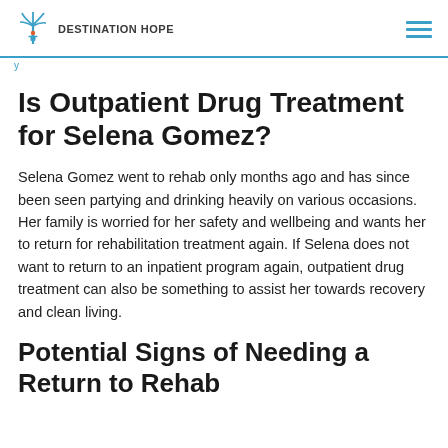DESTINATION HOPE
Is Outpatient Drug Treatment for Selena Gomez?
Selena Gomez went to rehab only months ago and has since been seen partying and drinking heavily on various occasions. Her family is worried for her safety and wellbeing and wants her to return for rehabilitation treatment again. If Selena does not want to return to an inpatient program again, outpatient drug treatment can also be something to assist her towards recovery and clean living.
Potential Signs of Needing a Return to Rehab